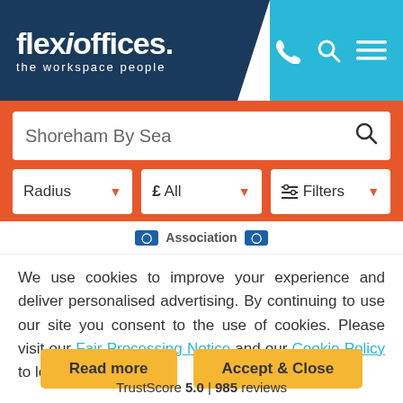[Figure (logo): Flexioffices logo with tagline 'the workspace people' on dark blue background with cyan header bar containing phone, search, and menu icons]
[Figure (screenshot): Search bar with text 'Shoreham By Sea' and search icon, below it filter dropdowns: Radius, £ All, and Filters]
Association
We use cookies to improve your experience and deliver personalised advertising. By continuing to use our site you consent to the use of cookies. Please visit our Fair Processing Notice and our Cookie Policy to learn more.
Read more
Accept & Close
TrustScore 5.0 | 985 reviews